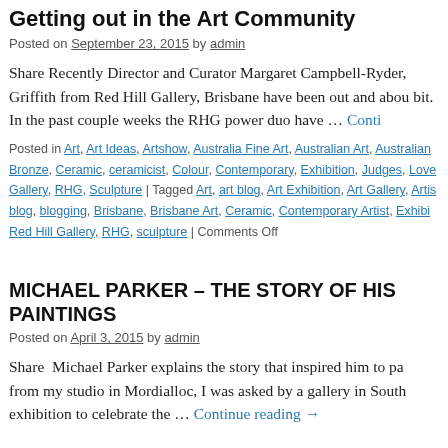Getting out in the Art Community
Posted on September 23, 2015 by admin
Share Recently Director and Curator Margaret Campbell-Ryder, Griffith from Red Hill Gallery, Brisbane have been out and about a bit. In the past couple weeks the RHG power duo have … Continue reading →
Posted in Art, Art Ideas, Artshow, Australia Fine Art, Australian Art, Australian …, Bronze, Ceramic, ceramicist, Colour, Contemporary, Exhibition, Judges, Love …, Gallery, RHG, Sculpture | Tagged Art, art blog, Art Exhibition, Art Gallery, Artis…, blog, blogging, Brisbane, Brisbane Art, Ceramic, Contemporary Artist, Exhibi…, Red Hill Gallery, RHG, sculpture | Comments Off
MICHAEL PARKER – THE STORY OF HIS PAINTINGS
Posted on April 3, 2015 by admin
Share  Michael Parker explains the story that inspired him to pa… from my studio in Mordialloc, I was asked by a gallery in South… exhibition to celebrate the … Continue reading →